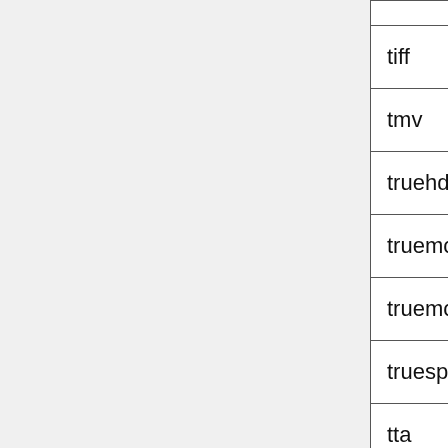| Name | Description |
| --- | --- |
| tiff | TIFF image |
| tmv | 8088flex TMV |
| truehd | TrueHD |
| truemotion1 | Duck TrueMotion 1 |
| truemotion2 | Duck TrueMotion 2 |
| truespeech | DSP Group TrueSpeech |
| tta | True Audio (TTA) |
| twinvq | VQF TwinVQ |
| txd | Renderware TXD |